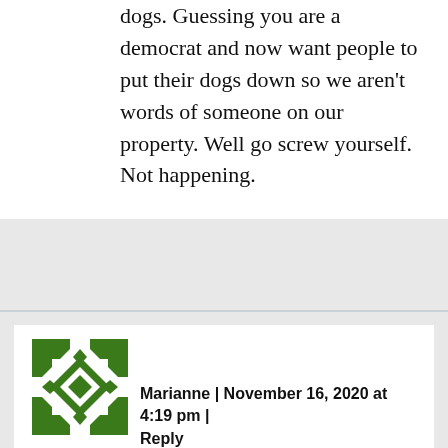dogs. Guessing you are a democrat and now want people to put their dogs down so we aren't words of someone on our property. Well go screw yourself. Not happening.
[Figure (illustration): Green geometric avatar/identicon with diamond and cross pattern for user Marianne]
Marianne | November 16, 2020 at 4:19 pm | Reply
This is complete and full blown bullcrap!! I'm working with animals for 25 years and the only thing I ever contracted a few times was ringworm.. Stop trying to scare ppl into dumping